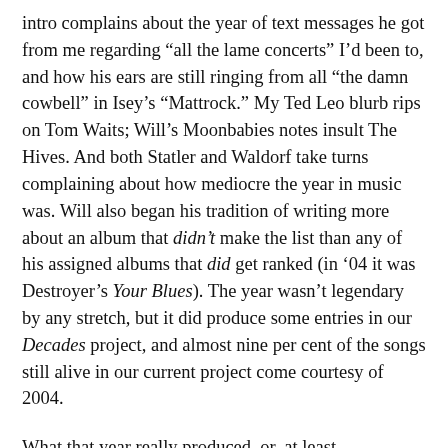intro complains about the year of text messages he got from me regarding “all the lame concerts” I’d been to, and how his ears are still ringing from all “the damn cowbell” in Isey’s “Mattrock.” My Ted Leo blurb rips on Tom Waits; Will’s Moonbabies notes insult The Hives. And both Statler and Waldorf take turns complaining about how mediocre the year in music was. Will also began his tradition of writing more about an album that didn’t make the list than any of his assigned albums that did get ranked (in ’04 it was Destroyer’s Your Blues). The year wasn’t legendary by any stretch, but it did produce some entries in our Decades project, and almost nine per cent of the songs still alive in our current project come courtesy of 2004.
What that year really produced, or, at least, uncovered, was the sheer amount of ire that characterizes every single one of our music-ranking projects since. The trash-talking, sabotage, and “not admitting that we actually like something introduced” by another member charade, had their roots in 2004. Even today,